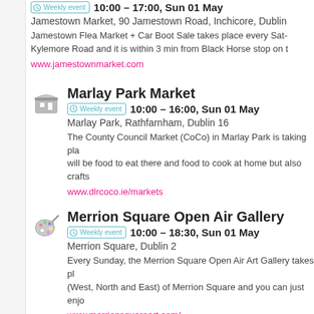Weekly event 10:00 – 17:00, Sun 01 May
Jamestown Market, 90 Jamestown Road, Inchicore, Dublin
Jamestown Flea Market + Car Boot Sale takes place every Sat- Kylemore Road and it is within 3 min from Black Horse stop on t
www.jamestownmarket.com
Marlay Park Market
Weekly event 10:00 – 16:00, Sun 01 May
Marlay Park, Rathfarnham, Dublin 16
The County Council Market (CoCo) in Marlay Park is taking pla will be food to eat there and food to cook at home but also crafts
www.dlrcoco.ie/markets
Merrion Square Open Air Gallery
Weekly event 10:00 – 18:30, Sun 01 May
Merrion Square, Dublin 2
Every Sunday, the Merrion Square Open Air Art Gallery takes pl (West, North and East) of Merrion Square and you can just enjo
www.merrionsquareart.com/